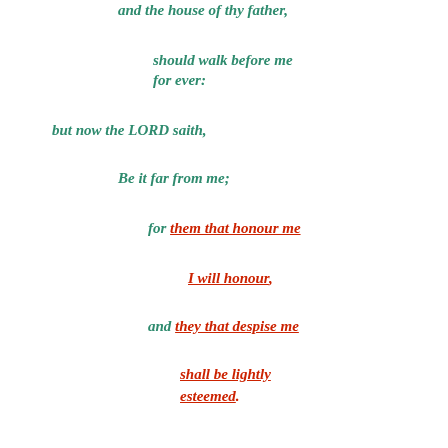and the house of thy father,
should walk before me for ever:
but now the LORD saith,
Be it far from me;
for them that honour me
I will honour,
and they that despise me
shall be lightly esteemed.